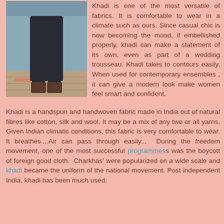[Figure (photo): A person wearing dark clothes and boots standing on a wooden deck near water, showing khadi clothing.]
Khadi is one of the most versatile of fabrics. It is comfortable to wear in a climate such as ours. Since casual chic is now becoming the mood, if embellished properly, khadi can make a statement of its own, even as part of a wedding trousseau. Khadi takes to contours easily. When used for contemporary ensembles , it can give a modern look make women feel smart and confident.
Khadi is a handspun and handwoven fabric made in India out of natural fibres like cotton, silk and wool. It may be a mix of any two or all yarns. Given Indian climatic conditions, this fabric is very comfortable to wear. It breathes....Air can pass through easily... During the freedom movement, one of the most successful programmes was the boycott of foreign good cloth. Charkhas' were popularized on a wide scale and khadi became the uniform of the national movement. Post independent India, khadi has been much used.